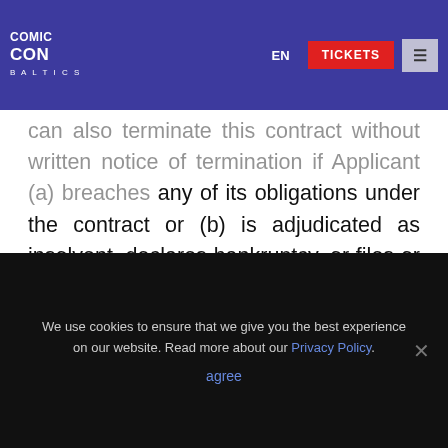[Figure (logo): Comic Con Baltic logo in white on purple navigation bar with EN language button, red TICKETS button, and hamburger menu button]
can also terminate this contract without written notice of termination if Applicant (a) breaches any of its obligations under the contract or (b) is adjudicated as insolvent, declares bankruptcy, or files or has filed against it, any petition in bankruptcy, or fails to continue its business. In either of these cases, CCB shall have no obligations, expressed or implied, to refund any payments previously made.
We use cookies to ensure that we give you the best experience on our website. Read more about our Privacy Policy.
agree